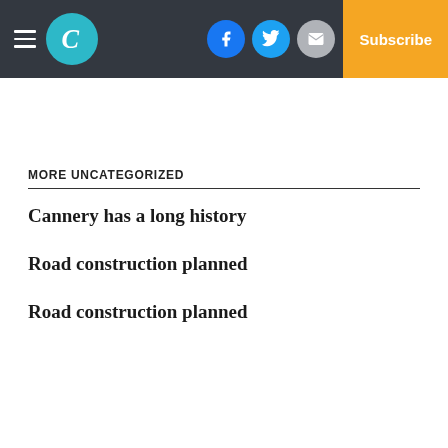The Chronicle — Subscribe
MORE UNCATEGORIZED
Cannery has a long history
Road construction planned
Road construction planned